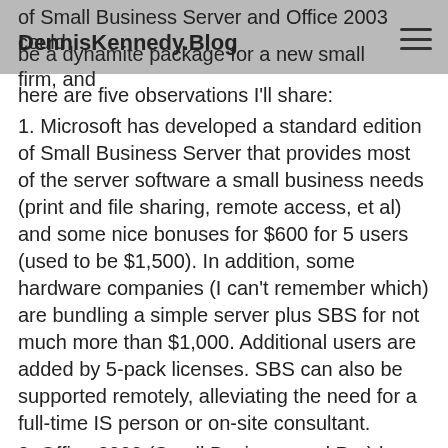DennisKennedy.Blog
of Small Business Server and Office 2003 could be a dynamite package for a new small firm, and here are five observations I'll share:
1. Microsoft has developed a standard edition of Small Business Server that provides most of the server software a small business needs (print and file sharing, remote access, et al) and some nice bonuses for $600 for 5 users (used to be $1,500). In addition, some hardware companies (I can't remember which) are bundling a simple server plus SBS for not much more than $1,000. Additional users are added by 5-pack licenses. SBS can also be supported remotely, alleviating the need for a full-time IS person or on-site consultant.
2. Office 2003 (Small Business and Pro) has two programs built in that will have great utility for